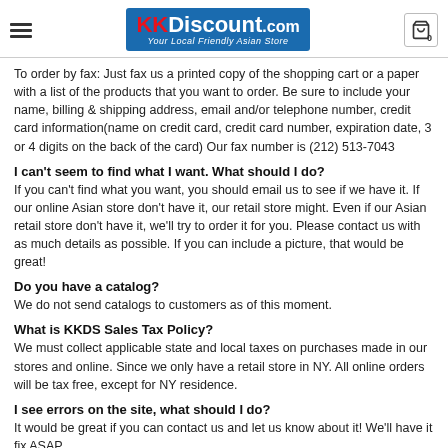KKDiscount.com — Your Local Friendly Asian Store
To order by fax: Just fax us a printed copy of the shopping cart or a paper with a list of the products that you want to order. Be sure to include your name, billing & shipping address, email and/or telephone number, credit card information(name on credit card, credit card number, expiration date, 3 or 4 digits on the back of the card) Our fax number is (212) 513-7043
I can't seem to find what I want. What should I do?
If you can't find what you want, you should email us to see if we have it. If our online Asian store don't have it, our retail store might. Even if our Asian retail store don't have it, we'll try to order it for you. Please contact us with as much details as possible. If you can include a picture, that would be great!
Do you have a catalog?
We do not send catalogs to customers as of this moment.
What is KKDS Sales Tax Policy?
We must collect applicable state and local taxes on purchases made in our stores and online. Since we only have a retail store in NY. All online orders will be tax free, except for NY residence.
I see errors on the site, what should I do?
It would be great if you can contact us and let us know about it! We'll have it fix ASAP.
Can I get directions to your retail store?